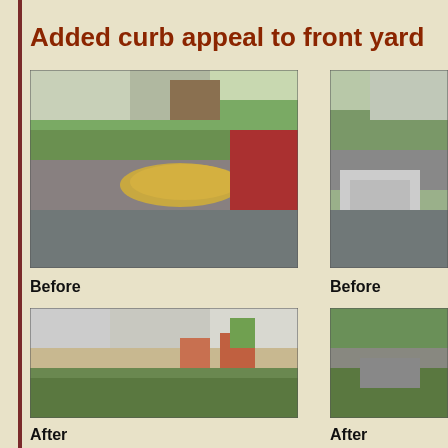Added curb appeal to front yard
[Figure (photo): Before photo of front yard driveway with pile of mulch/wood chips on asphalt, red truck visible, house with garage in background]
[Figure (photo): Before photo of front yard from different angle showing pallets of materials on driveway]
Before
Before
[Figure (photo): After photo of front yard showing improved landscaping with potted flowers and paved walkway near white house]
[Figure (photo): After photo of front yard with improved landscaping and stone work]
After
After